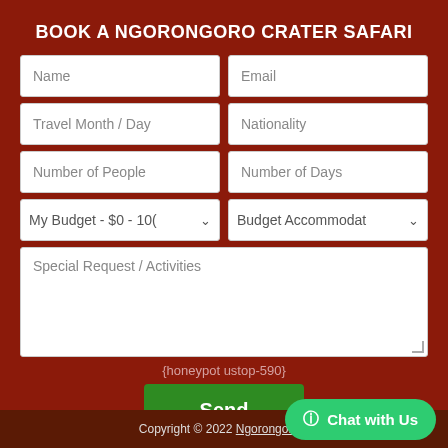BOOK A NGORONGORO CRATER SAFARI
[Figure (screenshot): Web booking form with fields: Name, Email, Travel Month / Day, Nationality, Number of People, Number of Days, My Budget - $0 - 100 (dropdown), Budget Accommodat (dropdown), Special Request / Activities textarea, honeypot field, Send button, Chat with Us button, and footer copyright.]
Copyright © 2022 Ngorongoro...